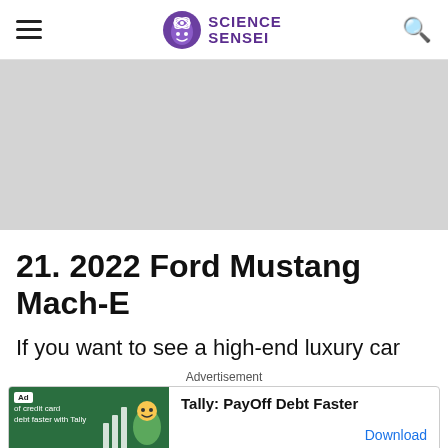Science Sensei
[Figure (photo): Gray placeholder image area for article hero image]
21. 2022 Ford Mustang Mach-E
If you want to see a high-end luxury car
Advertisement
[Figure (other): Advertisement banner: Tally PayOff Debt Faster with Download button]